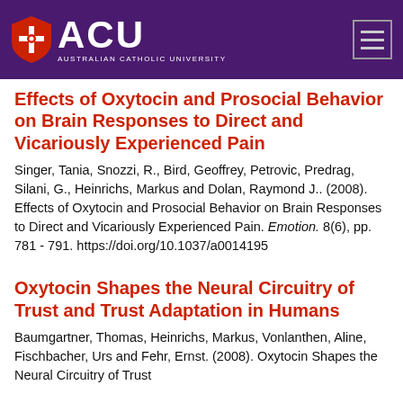ACU — Australian Catholic University
Effects of Oxytocin and Prosocial Behavior on Brain Responses to Direct and Vicariously Experienced Pain
Singer, Tania, Snozzi, R., Bird, Geoffrey, Petrovic, Predrag, Silani, G., Heinrichs, Markus and Dolan, Raymond J.. (2008). Effects of Oxytocin and Prosocial Behavior on Brain Responses to Direct and Vicariously Experienced Pain. Emotion. 8(6), pp. 781 - 791. https://doi.org/10.1037/a0014195
Oxytocin Shapes the Neural Circuitry of Trust and Trust Adaptation in Humans
Baumgartner, Thomas, Heinrichs, Markus, Vonlanthen, Aline, Fischbacher, Urs and Fehr, Ernst. (2008). Oxytocin Shapes the Neural Circuitry of Trust...